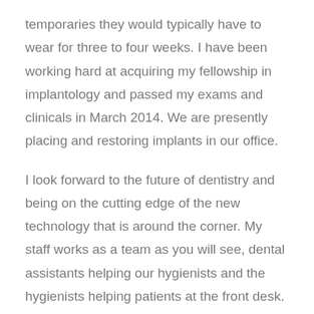temporaries they would typically have to wear for three to four weeks. I have been working hard at acquiring my fellowship in implantology and passed my exams and clinicals in March 2014. We are presently placing and restoring implants in our office.
I look forward to the future of dentistry and being on the cutting edge of the new technology that is around the corner. My staff works as a team as you will see, dental assistants helping our hygienists and the hygienists helping patients at the front desk. Everybody is cross trained so they can step into any other position in my office. We pride ourselves on community service, especially the sealant program put on by the Eblen foundation. My staff is required to keep up their education